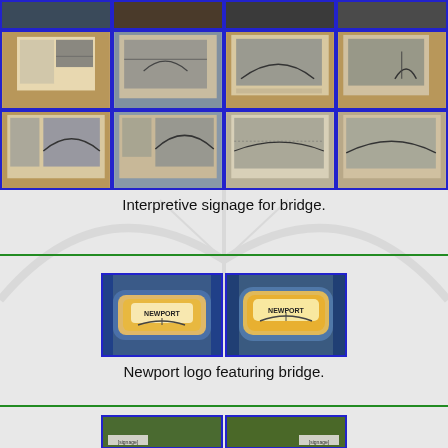[Figure (photo): Grid of photos showing interpretive signage panels for a bridge, displayed outdoors on blue-framed boards with historical black-and-white photographs]
Interpretive signage for bridge.
[Figure (photo): Two photos of Newport logo items (hats or patches) featuring a bridge silhouette design with blue and orange colors]
Newport logo featuring bridge.
[Figure (photo): Partial view of two photos showing signage or signs partially visible at the bottom of the page]